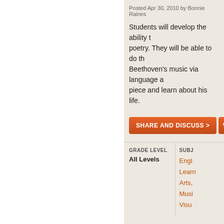Posted Apr 30, 2010 by Bonnie Raines
Students will develop the ability to read poetry. They will be able to do this using Beethoven's music via language a... piece and learn about his life.
SHARE AND DISCUSS >
GRADE LEVEL
All Levels
SUBJ...
Engl...
Learn...
Arts,...
Musi...
Visu...
Hero or Tyrant: Conne... to Napoleon, Part One...
Posted Apr 30, 2010 by Jeff Reed
Engage students studying the Age... listening activities to the second...